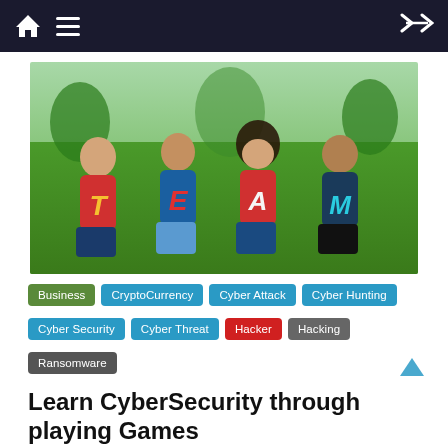Navigation bar with home icon, menu icon, and shuffle icon
[Figure (photo): Four people sitting on grass wearing team shirts spelling T-E-A-M, waving and smiling]
Business
CryptoCurrency
Cyber Attack
Cyber Hunting
Cyber Security
Cyber Threat
Hacker
Hacking
Ransomware
Learn CyberSecurity through playing Games